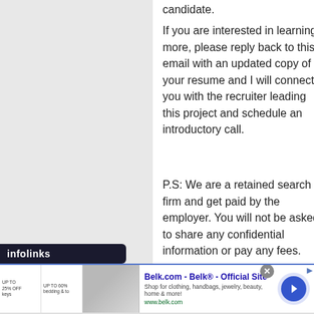candidate.
If you are interested in learning more, please reply back to this email with an updated copy of your resume and I will connect you with the recruiter leading this project and schedule an introductory call.
P.S: We are a retained search firm and get paid by the employer. You will not be asked to share any confidential information or pay any fees.
[Figure (other): infolinks ad network label bar and Belk.com advertisement banner with arrow button]